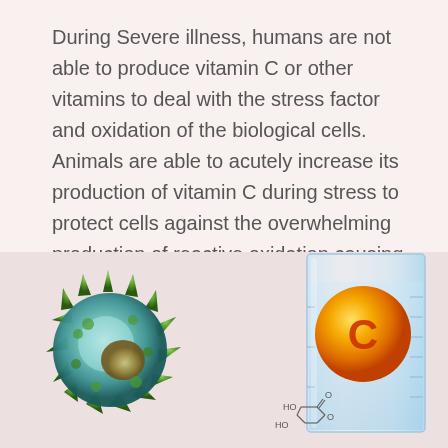During Severe illness, humans are not able to produce vitamin C or other vitamins to deal with the stress factor and oxidation of the biological cells. Animals are able to acutely increase its production of vitamin C during stress to protect cells against the overwhelming production of reactive oxidation causing biological injury and organ failure.
[Figure (illustration): Left: 3D illustration of a coronavirus particle (green spiky ball). Right: A glass laboratory beaker/cylinder with a large orange vitamin C sphere labeled 'C' and a chemical structure diagram of ascorbic acid (vitamin C) showing HO and O groups.]